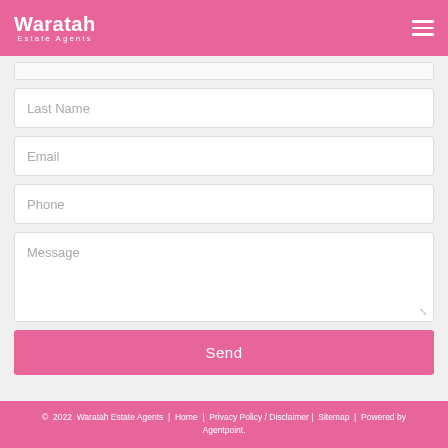Waratah Estate Agents
Last Name
Email
Phone
Message
Send
© 2022 Waratah Estate Agents | Home | Privacy Policy / Disclaimer | Sitemap | Powered by Agentpoint.